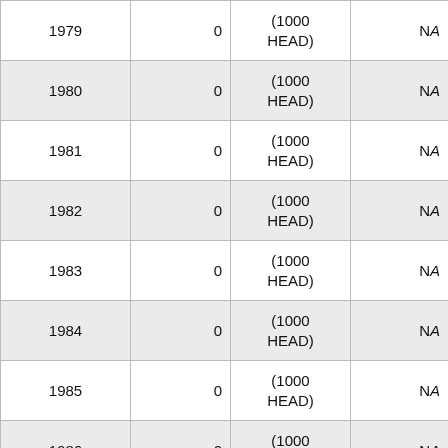| Year | Value | Unit | Change% |
| --- | --- | --- | --- |
| 1979 | 0 | (1000 HEAD) | NA |
| 1980 | 0 | (1000 HEAD) | NA |
| 1981 | 0 | (1000 HEAD) | NA |
| 1982 | 0 | (1000 HEAD) | NA |
| 1983 | 0 | (1000 HEAD) | NA |
| 1984 | 0 | (1000 HEAD) | NA |
| 1985 | 0 | (1000 HEAD) | NA |
| 1986 | 0 | (1000 HEAD) | NA |
| 1987 | 37 | (1000 HEAD) | NA |
| 1988 | 51 | (1000 HEAD) | 37.84% |
| 1989 | 59 | (1000 HEAD) | 15.69% |
| 1990 | 62 | (1000 HEAD) | 5.08% |